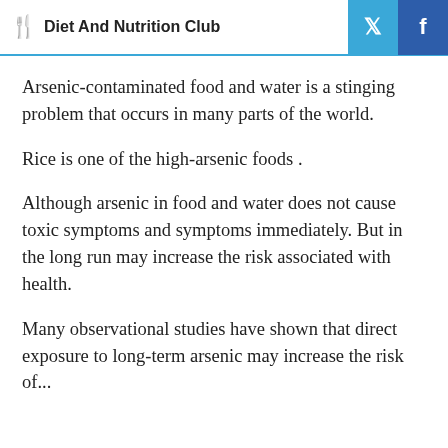Diet And Nutrition Club
Arsenic-contaminated food and water is a stinging problem that occurs in many parts of the world.
Rice is one of the high-arsenic foods .
Although arsenic in food and water does not cause toxic symptoms and symptoms immediately. But in the long run may increase the risk associated with health.
Many observational studies have shown that direct exposure to long-term arsenic may increase the risk of...